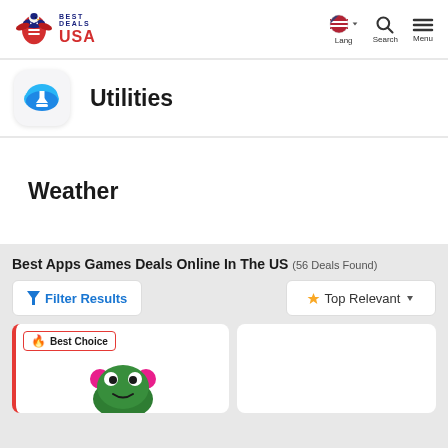Best Deals USA
Utilities
Weather
Best Apps Games Deals Online In The US (56 Deals Found)
Filter Results
Top Relevant
Best Choice